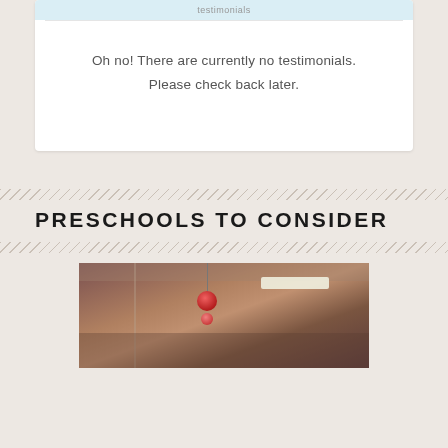Oh no! There are currently no testimonials. Please check back later.
PRESCHOOLS TO CONSIDER
[Figure (photo): Photo of a preschool classroom interior showing ceiling lights and hanging ornaments/decorations]